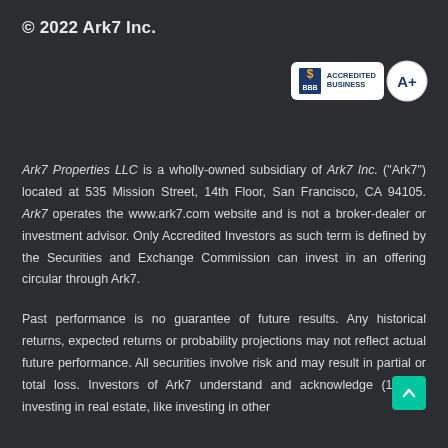© 2022 Ark7 Inc.
[Figure (logo): BBB Accredited Business badge with A+ rating circle]
Ark7 Properties LLC is a wholly-owned subsidiary of Ark7 Inc. ("Ark7") located at 535 Mission Street, 14th Floor, San Francisco, CA 94105. Ark7 operates the www.ark7.com website and is not a broker-dealer or investment advisor. Only Accredited Investors as such term is defined by the Securities and Exchange Commission can invest in an offering circular through Ark7.
Past performance is no guarantee of future results. Any historical returns, expected returns or probability projections may not reflect actual future performance. All securities involve risk and may result in partial or total loss. Investors of Ark7 understand and acknowledge (1) that investing in real estate, like investing in other